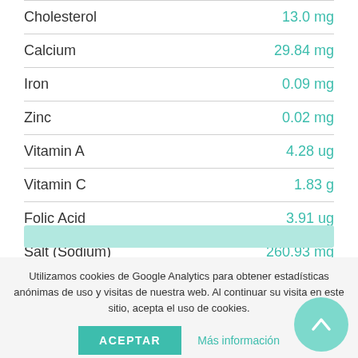| Nutrient | Amount |
| --- | --- |
| Cholesterol | 13.0 mg |
| Calcium | 29.84 mg |
| Iron | 0.09 mg |
| Zinc | 0.02 mg |
| Vitamin A | 4.28 ug |
| Vitamin C | 1.83 g |
| Folic Acid | 3.91 ug |
| Salt (Sodium) | 260.93 mg |
| Sugars | 1.1 g |
Utilizamos cookies de Google Analytics para obtener estadísticas anónimas de uso y visitas de nuestra web. Al continuar su visita en este sitio, acepta el uso de cookies.
ACEPTAR
Más información